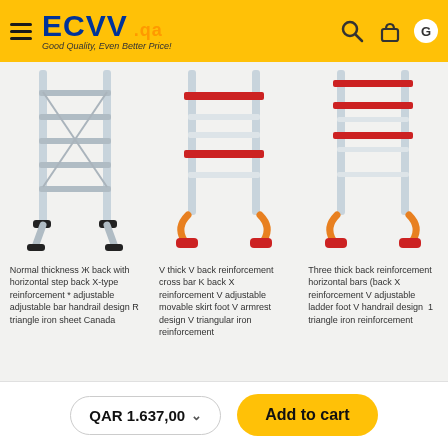[Figure (screenshot): ECVV.qa e-commerce website header with logo, hamburger menu, search and cart icons on yellow background]
[Figure (photo): Three aluminum ladders shown side by side: normal thickness, V-back, and three-bar reinforcement types]
Normal thickness Ж back with horizontal step back X-type reinforcement * adjustable adjustable bar handrail design R triangle iron sheet Canada
V thick V back reinforcement cross bar K back X reinforcement V adjustable movable skirt foot V armrest design V triangular iron reinforcement
Three thick back reinforcement horizontal bars (back X reinforcement V adjustable ladder foot V handrail design 1 triangle iron reinforcement
[Figure (photo): Partial view of a dark product image at the bottom]
QAR 1.637,00
Add to cart